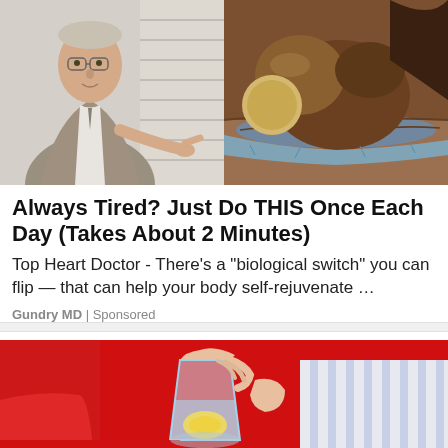[Figure (photo): Advertisement image showing a doctor in a suit pointing at a cross-section anatomical model on the left side, and a brown food/organ model on the right side]
Always Tired? Just Do THIS Once Each Day (Takes About 2 Minutes)
Top Heart Doctor - There’s a “biological switch” you can flip — that can help your body self-rejuvenate …
Gundry MD | Sponsored
[Figure (photo): Advertisement image showing hands pouring water into a red pitcher with a lemon slice, with a red background]